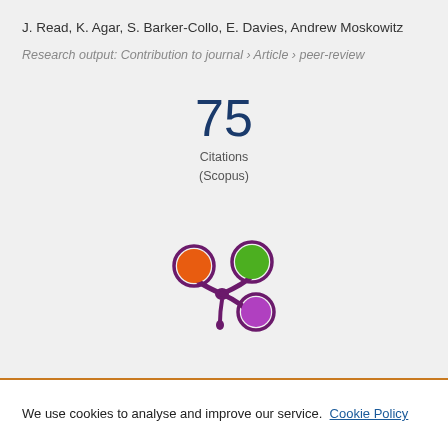J. Read, K. Agar, S. Barker-Collo, E. Davies, Andrew Moskowitz
Research output: Contribution to journal › Article › peer-review
75
Citations
(Scopus)
[Figure (logo): Altmetric/Pure logo: three colored circles (orange, green, purple) arranged around a purple splat/butterfly shape]
We use cookies to analyse and improve our service. Cookie Policy